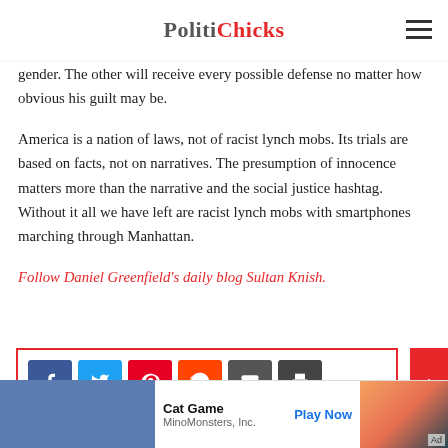PolitiChicks
with a formality of a trial manipulated to produce a verdict that not only damns one defendant but damns its entire race or gender. The other will receive every possible defense no matter how obvious his guilt may be.
America is a nation of laws, not of racist lynch mobs. Its trials are based on facts, not on narratives. The presumption of innocence matters more than the narrative and the social justice hashtag. Without it all we have left are racist lynch mobs with smartphones marching through Manhattan.
Follow Daniel Greenfield's daily blog Sultan Knish.
[Figure (screenshot): Social share buttons: Facebook, Twitter, Pinterest, Reddit, Email, Print icons in colored squares, with a red-bordered share box and scroll-to-top button]
[Figure (screenshot): App advertisement banner for Cat Game by MinoMonsters, Inc. with Play Now button and Ad label]